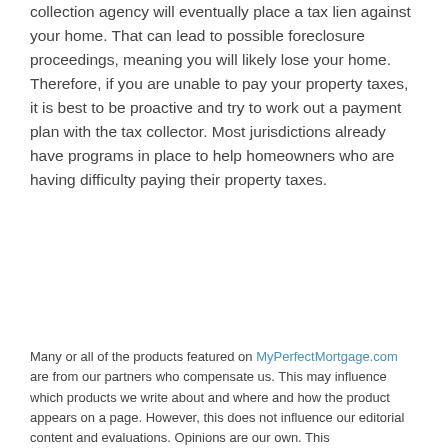collection agency will eventually place a tax lien against your home. That can lead to possible foreclosure proceedings, meaning you will likely lose your home. Therefore, if you are unable to pay your property taxes, it is best to be proactive and try to work out a payment plan with the tax collector. Most jurisdictions already have programs in place to help homeowners who are having difficulty paying their property taxes.
Many or all of the products featured on MyPerfectMortgage.com are from our partners who compensate us. This may influence which products we write about and where and how the product appears on a page. However, this does not influence our editorial content and evaluations. Opinions are our own. This